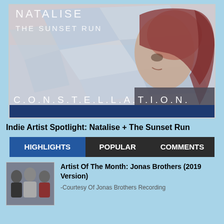[Figure (illustration): Album cover for Natalise - The Sunset Run, showing a woman with reddish hair against geometric light blue and white crystal/geometric shapes background, with text 'NATALISE', 'THE SUNSET RUN', and 'C.O.N.S.T.E.L.L.A.T.I.O.N.' along with a dark blue banner at the bottom.]
Indie Artist Spotlight: Natalise + The Sunset Run
HIGHLIGHTS   POPULAR   COMMENTS
Artist Of The Month: Jonas Brothers (2019 Version)
-Courtesy Of Jonas Brothers Recording